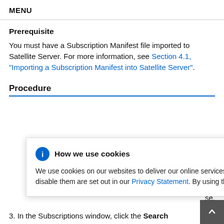MENU
Prerequisite
You must have a Subscription Manifest file imported to Satellite Server. For more information, see Section 4.1, “Importing a Subscription Manifest into Satellite Server”.
Procedure
[Figure (screenshot): Cookie consent popup dialog with blue info icon, title 'How we use cookies', close X button, and body text explaining cookie usage with a Privacy Statement link.]
3. In the Subscriptions window, click the Search